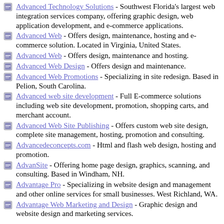Advanced Technology Solutions - Southwest Florida's largest web integration services company, offering graphic design, web application development, and e-commerce applications.
Advanced Web - Offers design, maintenance, hosting and e-commerce solution. Located in Virginia, United States.
Advanced Web - Offers design, maintenance and hosting.
Advanced Web Design - Offers design and maintenance.
Advanced Web Promotions - Specializing in site redesign. Based in Pelion, South Carolina.
Advanced web site development - Full E-commerce solutions including web site development, promotion, shopping carts, and merchant account.
Advanced Web Site Publishing - Offers custom web site design, complete site management, hosting, promotion and consulting.
Advancedeconcepts.com - Html and flash web design, hosting and promotion.
AdvanSite - Offering home page design, graphics, scanning, and consulting. Based in Windham, NH.
Advantage Pro - Specializing in website design and management and other online services for small businesses. West Richland, WA.
Advantage Web Marketing and Design - Graphic design and website design and marketing services.